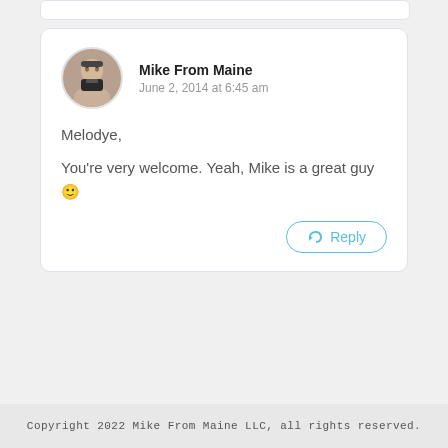Mike From Maine
June 2, 2014 at 6:45 am
Melodye,
You're very welcome. Yeah, Mike is a great guy 🙂
Copyright 2022 Mike From Maine LLC, all rights reserved.